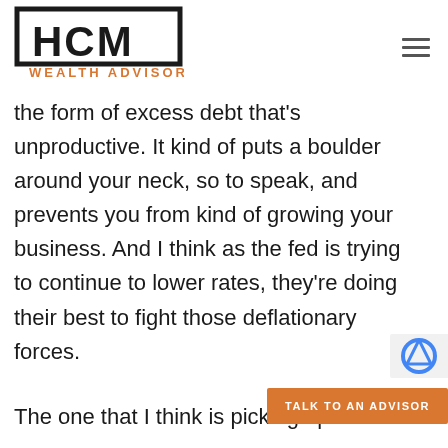HCM WEALTH ADVISORS
the form of excess debt that's unproductive. It kind of puts a boulder around your neck, so to speak, and prevents you from kind of growing your business. And I think as the fed is trying to continue to lower rates, they're doing their best to fight those deflationary forces.
The one that I think is picking up